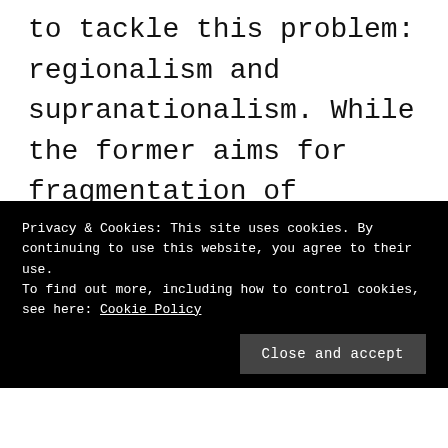to tackle this problem: regionalism and supranationalism. While the former aims for fragmentation of national political power into smaller parts of high homogeneity, the latter depicts a concept that aims for pooled cooperation of nation states that outsource technical parts of policy-making to a supranational body, while more debatable areas of policy-making remain under national control.
Privacy & Cookies: This site uses cookies. By continuing to use this website, you agree to their use.
To find out more, including how to control cookies, see here: Cookie Policy